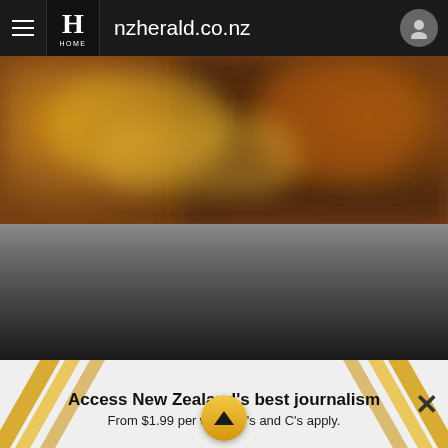nzherald.co.nz
[Figure (photo): Blurred warm amber and brown toned background image, likely a close-up photo with soft bokeh effect]
[Figure (photo): Dark gradient area fading from grey to black, representing a dark overlay or background]
Access New Zealand's best journalism
From $1.99 per week* T's and C's apply.